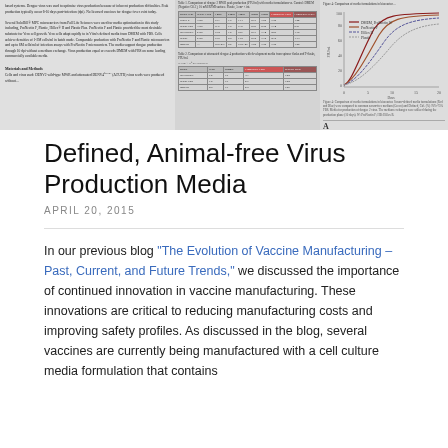[Figure (screenshot): A composite image strip showing a scientific paper excerpt with text columns, two data tables with small text, and a line chart showing virus production curves over time.]
Defined, Animal-free Virus Production Media
APRIL 20, 2015
In our previous blog "The Evolution of Vaccine Manufacturing – Past, Current, and Future Trends," we discussed the importance of continued innovation in vaccine manufacturing. These innovations are critical to reducing manufacturing costs and improving safety profiles. As discussed in the blog, several vaccines are currently being manufactured with a cell culture media formulation that contains